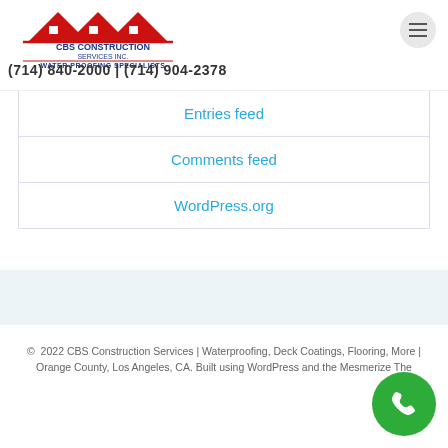[Figure (logo): CBS Construction Services Inc. logo with red house/roof icon and blue text. WATER PROOFING SPECIALISTS subtitle in blue.]
(714) 840-2000 | (714) 904-2378
Entries feed
Comments feed
WordPress.org
© 2022 CBS Construction Services | Waterproofing, Deck Coatings, Flooring, More | Orange County, Los Angeles, CA. Built using WordPress and the Mesmerize The…